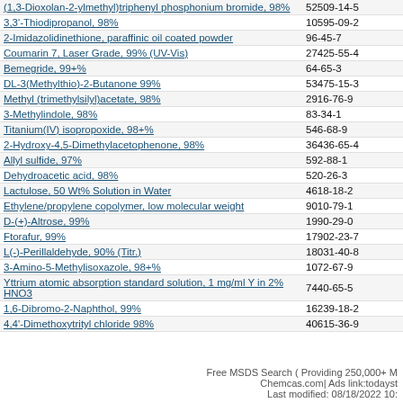| Chemical Name | CAS Number |
| --- | --- |
| (1,3-Dioxolan-2-ylmethyl)triphenyl phosphonium bromide, 98% | 52509-14-5 |
| 3,3'-Thiodipropanol, 98% | 10595-09-2 |
| 2-Imidazolidinethione, paraffinic oil coated powder | 96-45-7 |
| Coumarin 7, Laser Grade, 99% (UV-Vis) | 27425-55-4 |
| Bemegride, 99+% | 64-65-3 |
| DL-3(Methylthio)-2-Butanone 99% | 53475-15-3 |
| Methyl (trimethylsilyl)acetate, 98% | 2916-76-9 |
| 3-Methylindole, 98% | 83-34-1 |
| Titanium(IV) isopropoxide, 98+% | 546-68-9 |
| 2-Hydroxy-4,5-Dimethylacetophenone, 98% | 36436-65-4 |
| Allyl sulfide, 97% | 592-88-1 |
| Dehydroacetic acid, 98% | 520-26-3 |
| Lactulose, 50 Wt% Solution in Water | 4618-18-2 |
| Ethylene/propylene copolymer, low molecular weight | 9010-79-1 |
| D-(+)-Altrose, 99% | 1990-29-0 |
| Ftorafur, 99% | 17902-23-7 |
| L(-)-Perillaldehyde, 90% (Titr.) | 18031-40-8 |
| 3-Amino-5-Methylisoxazole, 98+% | 1072-67-9 |
| Yttrium atomic absorption standard solution, 1 mg/ml Y in 2% HNO3 | 7440-65-5 |
| 1,6-Dibromo-2-Naphthol, 99% | 16239-18-2 |
| 4,4'-Dimethoxytrityl chloride 98% | 40615-36-9 |
Free MSDS Search ( Providing 250,000+ M
Chemcas.com| Ads link:todayst
Last modified: 08/18/2022 10: